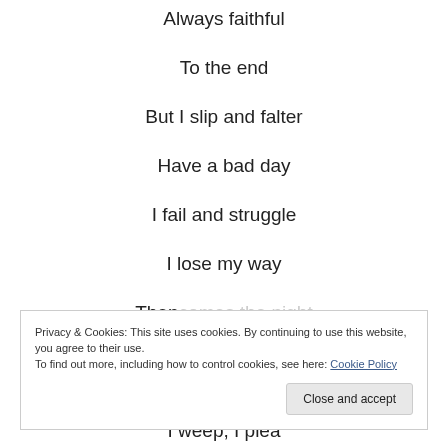Always faithful
To the end
But I slip and falter
Have a bad day
I fail and struggle
I lose my way
Then comes the night
Privacy & Cookies: This site uses cookies. By continuing to use this website, you agree to their use. To find out more, including how to control cookies, see here: Cookie Policy
I weep, I plea